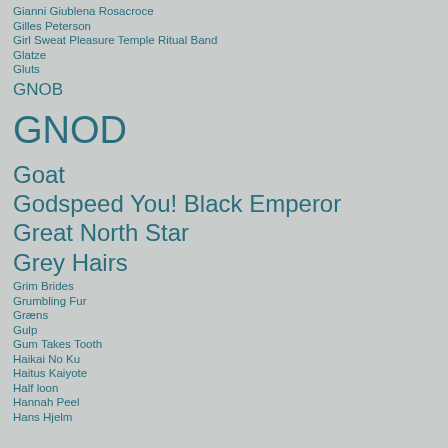Gianni Giublena Rosacroce
Gilles Peterson
Girl Sweat Pleasure Temple Ritual Band
Glatze
Gluts
GNOB
GNOD
Goat
Godspeed You! Black Emperor
Great North Star
Grey Hairs
Grim Brides
Grumbling Fur
Græns
Gulp
Gum Takes Tooth
Haikai No Ku
Haitus Kaiyote
Half loon
Hannah Peel
Hans Hjelm